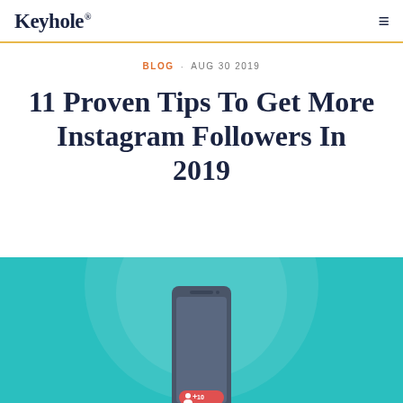Keyhole.
BLOG · AUG 30 2019
11 Proven Tips To Get More Instagram Followers In 2019
[Figure (illustration): Hero image with teal background, circular design element, and a smartphone mockup with a red follower notification badge showing a person icon and the number 10]